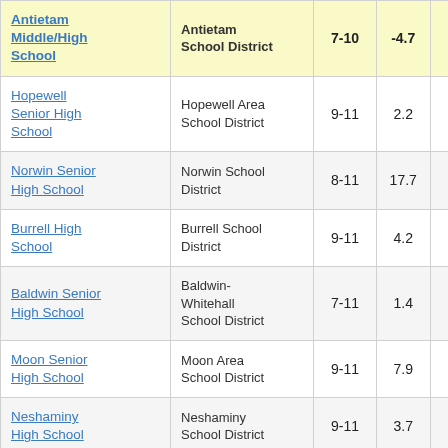| School | District | Grades | Value | ... |
| --- | --- | --- | --- | --- |
| Antietam Middle/High School | Antietam School District | 7-10 | -4.7 | 3... |
| Hopewell Senior High School | Hopewell Area School District | 9-11 | 2.2 | ... |
| Norwin Senior High School | Norwin School District | 8-11 | 17.7 | ... |
| Burrell High School | Burrell School District | 9-11 | 4.2 | ... |
| Baldwin Senior High School | Baldwin-Whitehall School District | 7-11 | 1.4 | ... |
| Moon Senior High School | Moon Area School District | 9-11 | 7.9 | ... |
| Neshaminy High School | Neshaminy School District | 9-11 | 3.7 | ... |